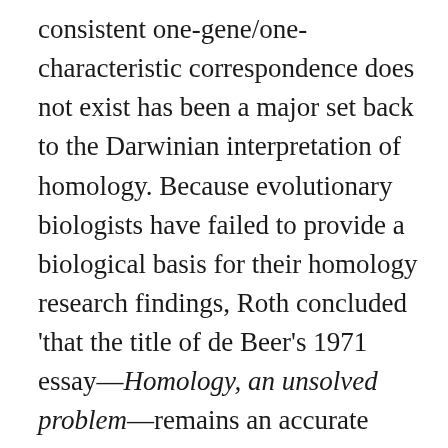consistent one-gene/one-characteristic correspondence does not exist has been a major set back to the Darwinian interpretation of homology. Because evolutionary biologists have failed to provide a biological basis for their homology research findings, Roth concluded 'that the title of de Beer's 1971 essay—Homology, an unsolved problem—remains an accurate description …. The relationships between processes at genetic, developmental, gross phenotypic and evolutionary levels remain a black box'.⁴⁵ Research at the molecular level has failed to demonstrate the expected